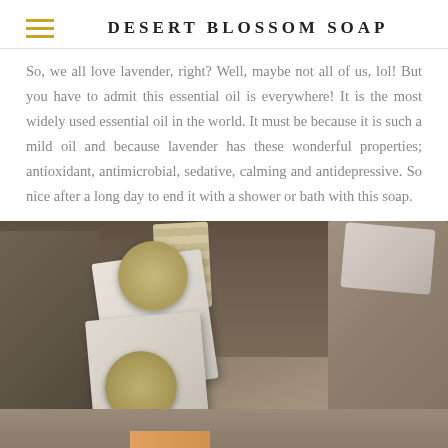DESERT BLOSSOM SOAP
So, we all love lavender, right? Well, maybe not all of us, lol! But you have to admit this essential oil is everywhere! It is the most widely used essential oil in the world. It must be because it is such a mild oil and because lavender has these wonderful properties; antioxidant, antimicrobial, sedative, calming and antidepressive. So nice after a long day to end it with a shower or bath with this soap.
[Figure (photo): Photograph of soap bars with round branded labels arranged in a wooden box, viewed from above at an angle.]